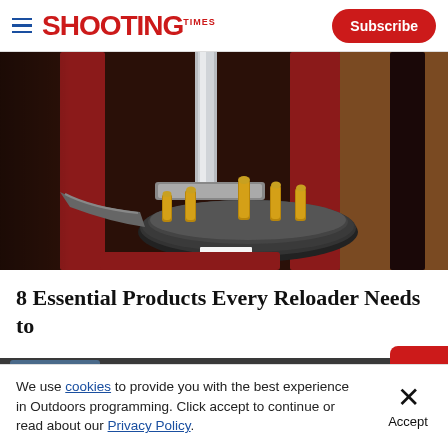SHOOTING TIMES — Subscribe
[Figure (photo): Close-up of a red Hornady progressive reloading press with brass cartridge cases seated in the shell plate, showing multiple die stations with gold-colored brass bullets.]
8 Essential Products Every Reloader Needs to
Advertisement — ADVANTAGE — SHOP NOW
We use cookies to provide you with the best experience in Outdoors programming. Click accept to continue or read about our Privacy Policy.